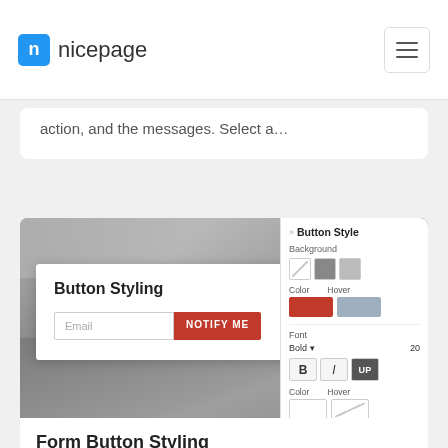nicepage
action, and the messages. Select a…
[Figure (screenshot): Screenshot of Nicepage editor showing Button Styling panel with email input, NOTIFY ME button, and right-side style panel with Background, Color, Hover, Font, Bold, B/I/UP buttons and color swatches]
Form Button Styling
The Button is usually one of the main elements in web design. That is why it is also very important on your…